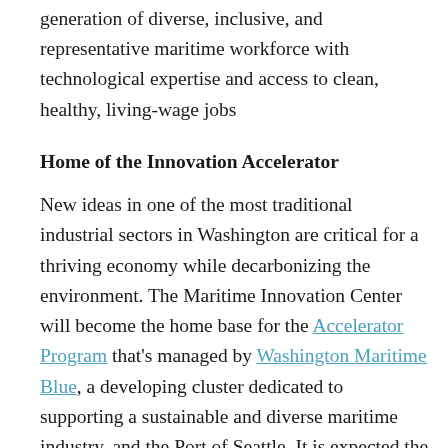generation of diverse, inclusive, and representative maritime workforce with technological expertise and access to clean, healthy, living-wage jobs
Home of the Innovation Accelerator
New ideas in one of the most traditional industrial sectors in Washington are critical for a thriving economy while decarbonizing the environment. The Maritime Innovation Center will become the home base for the Accelerator Program that's managed by Washington Maritime Blue, a developing cluster dedicated to supporting a sustainable and diverse maritime industry, and the Port of Seattle. It is expected the Center will generate a net positive operating income after the first year and a critical element of the budding